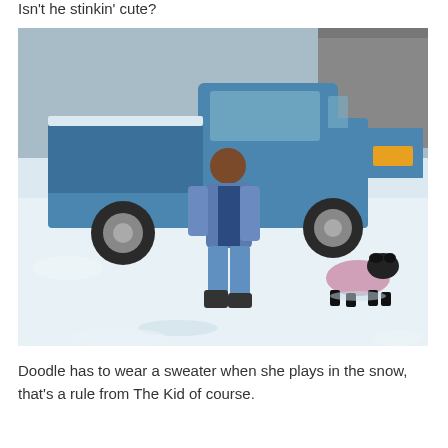Isn't he stinkin' cute?
[Figure (photo): A child in a blue jacket and snow pants walking in the snow toward a small dog wearing a pink sweater, with a blue pickup truck parked in the background on a snowy driveway.]
Doodle has to wear a sweater when she plays in the snow, that's a rule from The Kid of course.